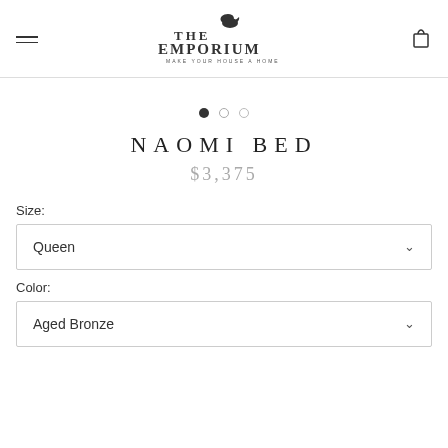THE EMPORIUM — MAKE YOUR HOUSE A HOME
[Figure (illustration): Carousel image dots: one filled dark dot and two unfilled circle dots]
NAOMI BED
$3,375
Size:
Queen
Color:
Aged Bronze